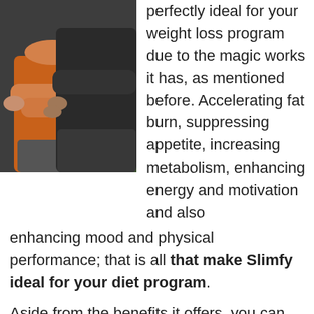[Figure (photo): Two people standing together, one in an orange top and one in dark clothing, with hands visible near waist area suggesting a weight/diet context.]
perfectly ideal for your weight loss program due to the magic works it has, as mentioned before. Accelerating fat burn, suppressing appetite, increasing metabolism, enhancing energy and motivation and also enhancing mood and physical performance; that is all that make Slimfy ideal for your diet program.
Aside from the benefits it offers, you can also get your money back suppose you do not feel satisfied with the result. In my opinion, this